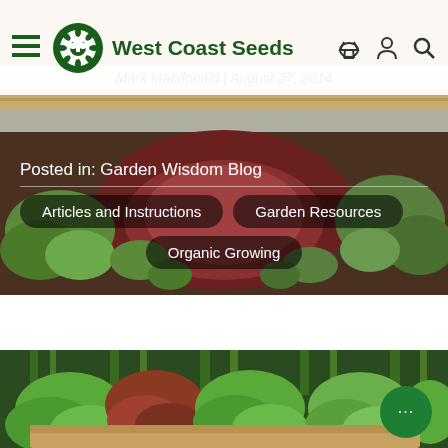[Figure (screenshot): West Coast Seeds website header screenshot showing navigation bar with hamburger menu, West Coast Seeds logo (sunflower icon and green text), and right-side icons (basket, user, search). Subtitle reads 'Mark Macdonald | August 27, 2014'. Below the nav is a hero garden photo with overlaid text: 'Posted in: Garden Wisdom Blog', tags 'Articles and Instructions', 'Garden Resources', 'Organic Growing'. Below is a second garden photo of leafy greens in raised beds with a green chat bubble icon.]